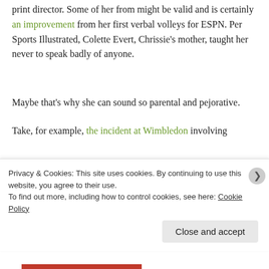print director. Some of her from might be valid and is certainly an improvement from her first verbal volleys for ESPN. Per Sports Illustrated, Colette Evert, Chrissie's mother, taught her never to speak badly of anyone.
Maybe that's why she can sound so parental and pejorative.
Take, for example, the incident at Wimbledon involving
Privacy & Cookies: This site uses cookies. By continuing to use this website, you agree to their use.
To find out more, including how to control cookies, see here: Cookie Policy